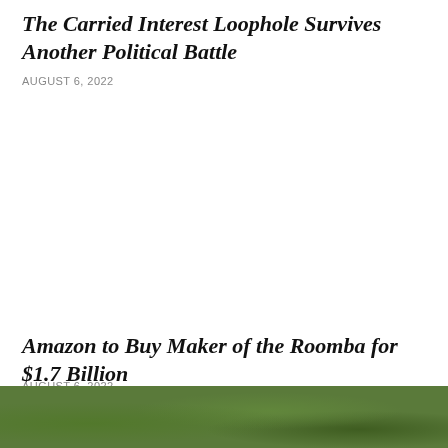The Carried Interest Loophole Survives Another Political Battle
AUGUST 6, 2022
Amazon to Buy Maker of the Roomba for $1.7 Billion
AUGUST 6, 2022
[Figure (photo): Green foliage/nature photograph strip at the bottom of the page]